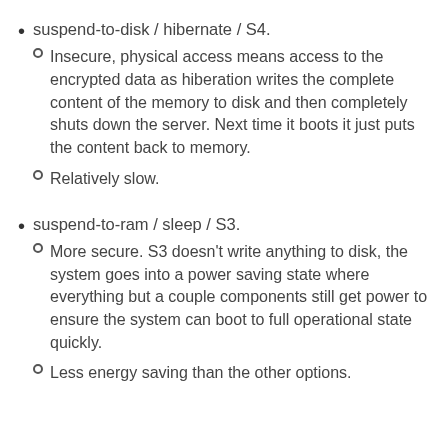suspend-to-disk / hibernate / S4.
Insecure, physical access means access to the encrypted data as hiberation writes the complete content of the memory to disk and then completely shuts down the server. Next time it boots it just puts the content back to memory.
Relatively slow.
suspend-to-ram / sleep / S3.
More secure. S3 doesn't write anything to disk, the system goes into a power saving state where everything but a couple components still get power to ensure the system can boot to full operational state quickly.
Less energy saving than the other options.